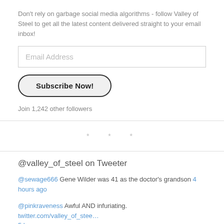Don't rely on garbage social media algorithms - follow Valley of Steel to get all the latest content delivered straight to your email inbox!
Email Address
Subscribe Now!
Join 1,242 other followers
* * *
@valley_of_steel on Tweeter
@sewage666 Gene Wilder was 41 as the doctor's grandson 4 hours ago
@pinkraveness Awful AND infuriating. twitter.com/valley_of_stee… 5 hours ago